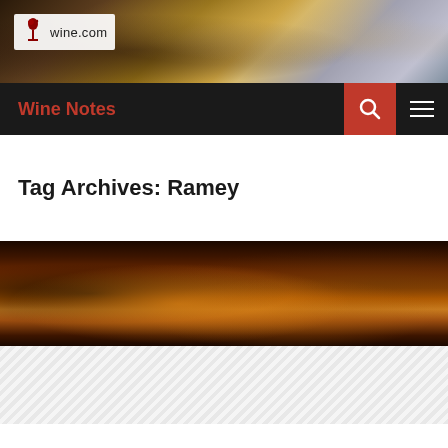[Figure (photo): Header photo showing wine being poured into glasses with bottles in the background, warm tones]
wine.com
Wine Notes
Tag Archives: Ramey
[Figure (photo): Dark atmospheric photo of wine glasses in front of a fireplace with warm amber glow]
[Figure (photo): Diagonal striped gray/white pattern at bottom of page]